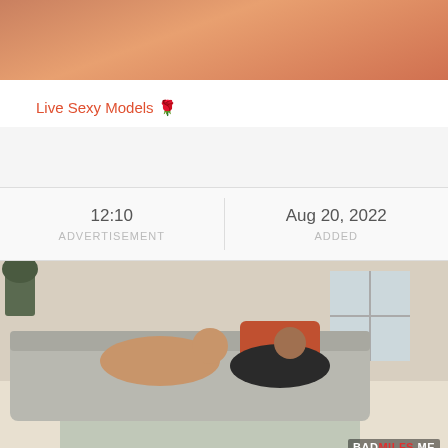[Figure (photo): Cropped close-up photo at top of page, skin tones visible]
Live Sexy Models 🌹
[Figure (photo): Advertisement spacer area, light gray background]
| ADVERTISEMENT | ADDED |
| --- | --- |
| 12:10 | Aug 20, 2022 |
[Figure (photo): Video thumbnail showing two people on a gray sofa in a living room setting, with BADMILFS.ME watermark in bottom right]